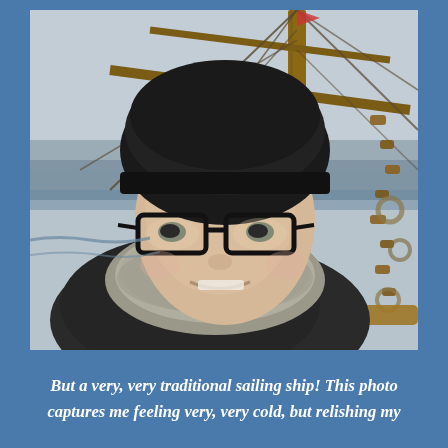[Figure (photo): A person wearing a black knit beanie hat and glasses, with a grey knit cowl scarf and dark jacket, standing on a traditional sailing ship with wooden masts, ropes and rigging visible in the background, overcast sky and sea visible behind them.]
But a very, very traditional sailing ship! This photo captures me feeling very, very cold, but relishing my